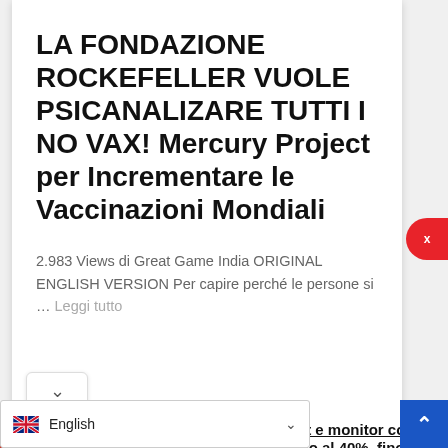LA FONDAZIONE ROCKEFELLER VUOLE PSICANALIZARE TUTTI I NO VAX! Mercury Project per Incrementare le Vaccinazioni Mondiali
2.983 Views di Great Game India ORIGINAL ENGLISH VERSION Per capire perché le persone si … Leggi tutto
[Figure (screenshot): Black to School advertisement banner with books and laptop]
PC, tablet e monitor con sconti fino al 40%, fino a..
MediaWorld
English